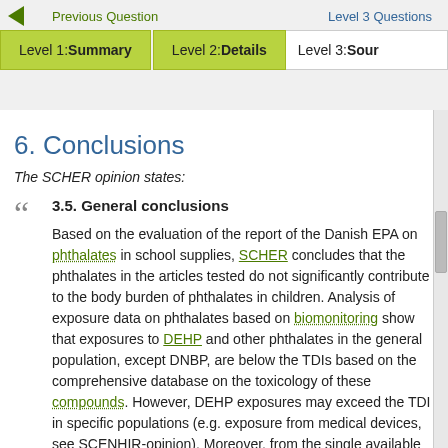Previous Question  |  Level 3 Questions  |  Level 1: Summary  |  Level 2: Details  |  Level 3: Sour...
6. Conclusions
The SCHER opinion states:
3.5. General conclusions
Based on the evaluation of the report of the Danish EPA on phthalates in school supplies, SCHER concludes that the phthalates in the articles tested do not significantly contribute to the body burden of phthalates in children. Analysis of exposure data on phthalates based on biomonitoring show that exposures to DEHP and other phthalates in the general population, except DNBP, are below the TDIs based on the comprehensive database on the toxicology of these compounds. However, DEHP exposures may exceed the TDI in specific populations (e.g. exposure from medical devices, see SCENHIR-opinion). Moreover, from the single available exploratory experiment SCHER has estimated that biting off pieces